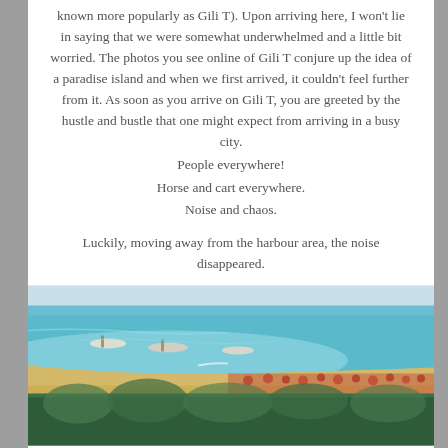known more popularly as Gili T). Upon arriving here, I won't lie in saying that we were somewhat underwhelmed and a little bit worried. The photos you see online of Gili T conjure up the idea of a paradise island and when we first arrived, it couldn't feel further from it. As soon as you arrive on Gili T, you are greeted by the hustle and bustle that one might expect from arriving in a busy city.
People everywhere!
Horse and cart everywhere.
Noise and chaos.
Luckily, moving away from the harbour area, the noise disappeared.
[Figure (photo): Aerial view of a tropical beach on Gili T island, showing turquoise water, sandy shore, beach umbrellas and sun loungers, boats on the water, and dense green trees in the background.]